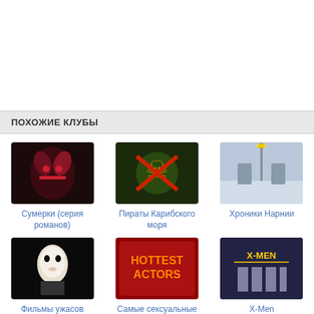ПОХОЖИЕ КЛУБЫ
[Figure (photo): Thumbnail image for Сумерки (серия романов)]
Сумерки (серия романов)
[Figure (photo): Thumbnail image for Пираты Карибского моря]
Пираты Карибского моря
[Figure (photo): Thumbnail image for Хроники Нарнии]
Хроники Нарнии
[Figure (photo): Thumbnail image for Фильмы ужасов]
Фильмы ужасов
[Figure (photo): Thumbnail image for Самые сексуальные актеры - Hottest Actors]
Самые сексуальные актеры
[Figure (photo): Thumbnail image for X-Men]
X-Men
[Figure (photo): Thumbnail image for Хит Леджер]
Хит Леджер
[Figure (photo): Thumbnail image for Лак для волос - Hairspray]
Лак для волос
[Figure (photo): Thumbnail image for Новинки кино]
Новинки кино